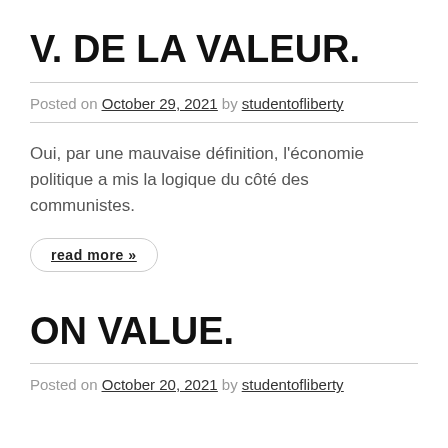V. DE LA VALEUR.
Posted on October 29, 2021 by studentofliberty
Oui, par une mauvaise définition, l'économie politique a mis la logique du côté des communistes.
read more »
ON VALUE.
Posted on October 20, 2021 by studentofliberty